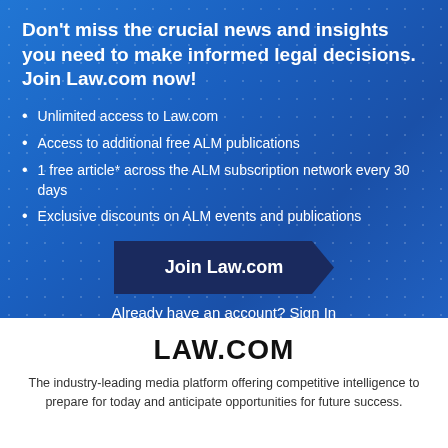Don't miss the crucial news and insights you need to make informed legal decisions. Join Law.com now!
Unlimited access to Law.com
Access to additional free ALM publications
1 free article* across the ALM subscription network every 30 days
Exclusive discounts on ALM events and publications
Join Law.com
Already have an account? Sign In
LAW.COM
The industry-leading media platform offering competitive intelligence to prepare for today and anticipate opportunities for future success.